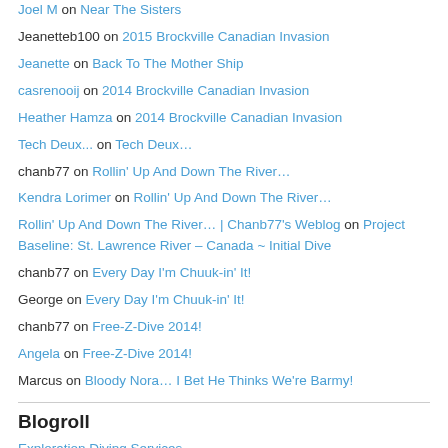Joel M on Near The Sisters
Jeanetteb100 on 2015 Brockville Canadian Invasion
Jeanette on Back To The Mother Ship
casrenooij on 2014 Brockville Canadian Invasion
Heather Hamza on 2014 Brockville Canadian Invasion
Tech Deux... on Tech Deux…
chanb77 on Rollin' Up And Down The River…
Kendra Lorimer on Rollin' Up And Down The River…
Rollin' Up And Down The River… | Chanb77's Weblog on Project Baseline: St. Lawrence River – Canada ~ Initial Dive
chanb77 on Every Day I'm Chuuk-in' It!
George on Every Day I'm Chuuk-in' It!
chanb77 on Free-Z-Dive 2014!
Angela on Free-Z-Dive 2014!
Marcus on Bloody Nora… I Bet He Thinks We're Barmy!
Blogroll
Exploration Diving Services